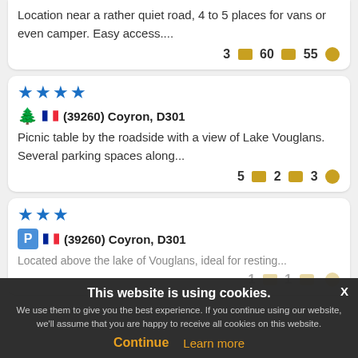Location near a rather quiet road, 4 to 5 places for vans or even camper. Easy access....
3 [img] 60 [chat] 55 [face]
★★★★ (39260) Coyron, D301
Picnic table by the roadside with a view of Lake Vouglans. Several parking spaces along...
5 [img] 2 [chat] 3 [face]
★★★ (39260) Coyron, D301
Located above the lake of Vouglans, ideal for resting...
1 [img] 1 [chat] [face]
This website is using cookies. We use them to give you the best experience. If you continue using our website, we'll assume that you are happy to receive all cookies on this website.
Continue   Learn more